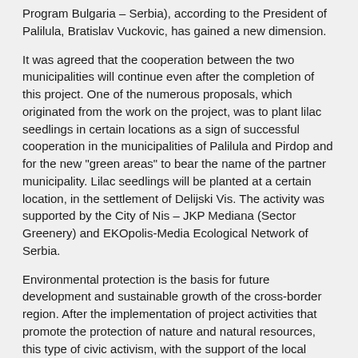Program Bulgaria – Serbia), according to the President of Palilula, Bratislav Vuckovic, has gained a new dimension.
It was agreed that the cooperation between the two municipalities will continue even after the completion of this project. One of the numerous proposals, which originated from the work on the project, was to plant lilac seedlings in certain locations as a sign of successful cooperation in the municipalities of Palilula and Pirdop and for the new "green areas" to bear the name of the partner municipality. Lilac seedlings will be planted at a certain location, in the settlement of Delijski Vis. The activity was supported by the City of Nis – JKP Mediana (Sector Greenery) and EKOpolis-Media Ecological Network of Serbia.
Environmental protection is the basis for future development and sustainable growth of the cross-border region. After the implementation of project activities that promote the protection of nature and natural resources, this type of civic activism, with the support of the local community, deserves attention. (ECOpolis, D.V.)
Together to reach the same goal! THE GOAL IS TO PRESERVE, IMPROVE AND PROTECT THE ENVIRONMENT!